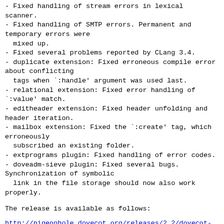- Fixed handling of stream errors in lexical scanner.
- Fixed handling of SMTP errors. Permanent and temporary errors were
  mixed up.
- Fixed several problems reported by CLang 3.4.
- duplicate extension: Fixed erroneous compile error about conflicting
  tags when `:handle' argument was used last.
- relational extension: Fixed error handling of
`:value' match.
- editheader extension: Fixed header unfolding and header iteration.
- mailbox extension: Fixed the `:create' tag, which erroneously
  subscribed an existing folder.
- extprograms plugin: Fixed handling of error codes.
- doveadm-sieve plugin: Fixed several bugs. Synchronization of symbolic
  link in the file storage should now also work properly.
The release is available as follows:
http://pigeonhole.dovecot.org/releases/2.2/dovecot-2.2-pigeonhole-0.4.4.tar.gz
http://pigeonhole.dovecot.org/releases/2.2/dovecot-2.2-pigeonhole-0.4.4.tar.gz.sig
Refer to http://pigeonhole.dovecot.org and the Dovecot v2.x wiki for